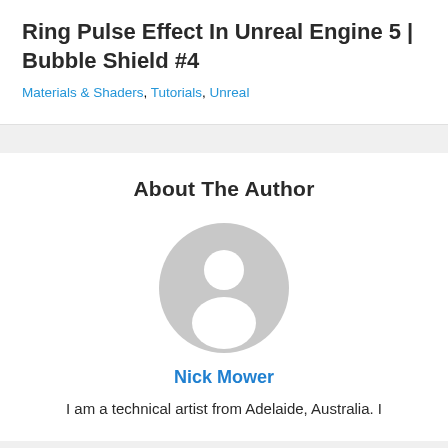Ring Pulse Effect In Unreal Engine 5 | Bubble Shield #4
Materials & Shaders, Tutorials, Unreal
About The Author
[Figure (illustration): Generic user avatar icon — grey circle with white silhouette of a person]
Nick Mower
I am a technical artist from Adelaide, Australia. I